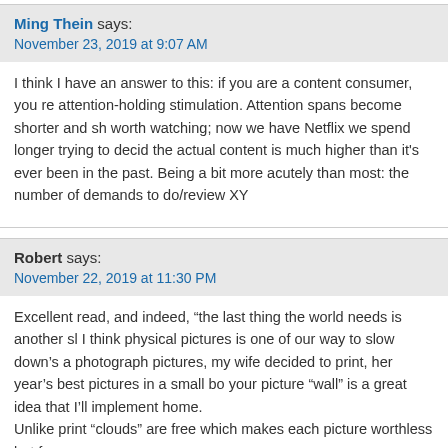Ming Thein says:
November 23, 2019 at 9:07 AM
I think I have an answer to this: if you are a content consumer, you re attention-holding stimulation. Attention spans become shorter and sh worth watching; now we have Netflix we spend longer trying to decid the actual content is much higher than it's ever been in the past. Being a bit more acutely than most: the number of demands to do/review XY
Robert says:
November 22, 2019 at 11:30 PM
Excellent read, and indeed, "the last thing the world needs is another sl I think physical pictures is one of our way to slow down's a photograph pictures, my wife decided to print, her year's best pictures in a small bo your picture "wall" is a great idea that I'll implement home.
Unlike print "clouds" are free which makes each picture worthless but f
Your article made me think about the opposite of fast. Do you know Ray movies "Journal de France" (https://www.youtube.com/watch?v=dXpUS large format camera. It was a joy to watch him take his time and he...